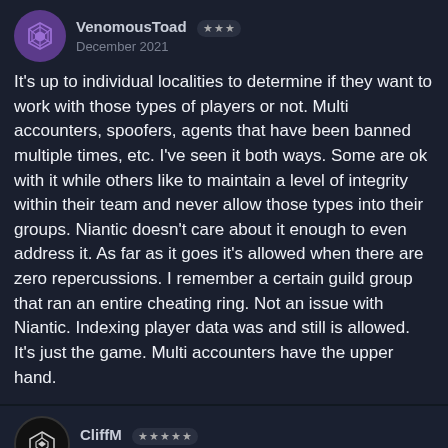VenomousToad ★★★
December 2021
It's up to individual localities to determine if they want to work with those types of players or not. Multi accounters, spoofers, agents that have been banned multiple times, etc. I've seen it both ways. Some are ok with it while others like to maintain a level of integrity within their team and never allow those types into their groups. Niantic doesn't care about it enough to even address it. As far as it goes it's allowed when there are zero repercussions. I remember a certain guild group that ran an entire cheating ring. Not an issue with Niantic. Indexing player data was and still is allowed. It's just the game. Multi accounters have the upper hand.
CliffM ★★★★★
December 2021   edited December 2021
VenomousToad  Dec 3, 2021
It's up to individual localities to determine if they want to